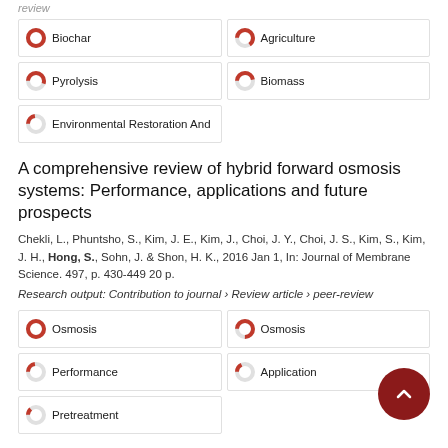review
[Figure (infographic): Keyword badges with donut chart indicators: Biochar (100%), Agriculture (65%), Pyrolysis (55%), Biomass (47%), Environmental Restoration And (22%)]
A comprehensive review of hybrid forward osmosis systems: Performance, applications and future prospects
Chekli, L., Phuntsho, S., Kim, J. E., Kim, J., Choi, J. Y., Choi, J. S., Kim, S., Kim, J. H., Hong, S., Sohn, J. & Shon, H. K., 2016 Jan 1, In: Journal of Membrane Science. 497, p. 430-449 20 p.
Research output: Contribution to journal › Review article › peer-review
[Figure (infographic): Keyword badges with donut chart indicators: Osmosis (100%), Osmosis (75%), Performance (22%), Application (17%), Pretreatment (13%)]